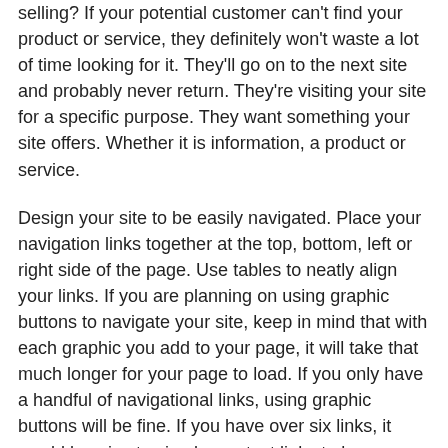selling? If your potential customer can't find your product or service, they definitely won't waste a lot of time looking for it. They'll go on to the next site and probably never return. They're visiting your site for a specific purpose. They want something your site offers. Whether it is information, a product or service.
Design your site to be easily navigated. Place your navigation links together at the top, bottom, left or right side of the page. Use tables to neatly align your links. If you are planning on using graphic buttons to navigate your site, keep in mind that with each graphic you add to your page, it will take that much longer for your page to load. If you only have a handful of navigational links, using graphic buttons will be fine. If you have over six links, it would be wise to simply use text links to keep your load time down.
If you must use frames, use them sparingly. Frames, if not properly used, can make your site look unprofessional. Avoid making your visitors have to scroll from side to side to view your content. This can be very irritating and cause your visitors to leave. If you must use frames, offer your